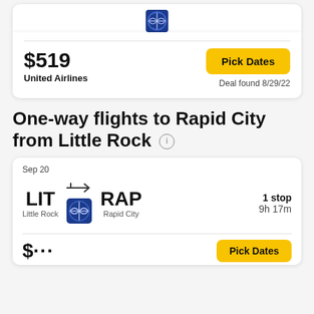[Figure (logo): United Airlines globe logo at top of card]
$519
United Airlines
Pick Dates
Deal found 8/29/22
One-way flights to Rapid City from Little Rock
Sep 20
LIT
Little Rock
RAP
Rapid City
[Figure (logo): United Airlines globe logo in flight card]
1 stop
9h 17m
$...